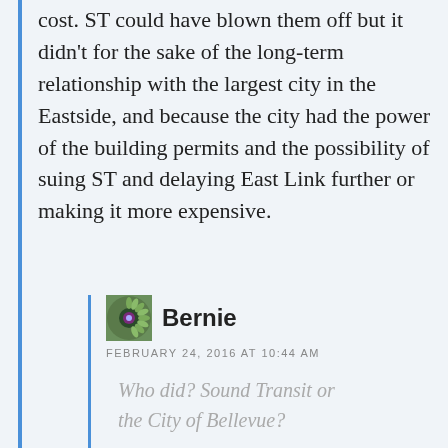cost. ST could have blown them off but it didn't for the sake of the long-term relationship with the largest city in the Eastside, and because the city had the power of the building permits and the possibility of suing ST and delaying East Link further or making it more expensive.
Bernie
FEBRUARY 24, 2016 AT 10:44 AM
Who did? Sound Transit or the City of Bellevue?
Yes. ST's epic fail was to not realize the